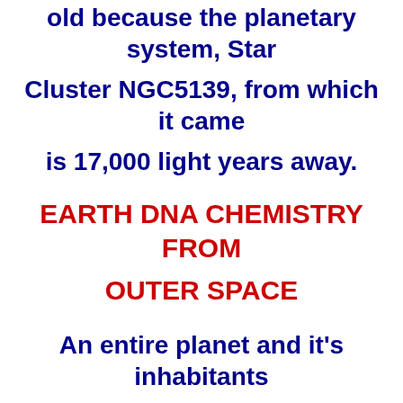old because the planetary system, Star Cluster NGC5139, from which it came is 17,000 light years away.
EARTH DNA CHEMISTRY FROM OUTER SPACE
An entire planet and it's inhabitants have been destroyed.